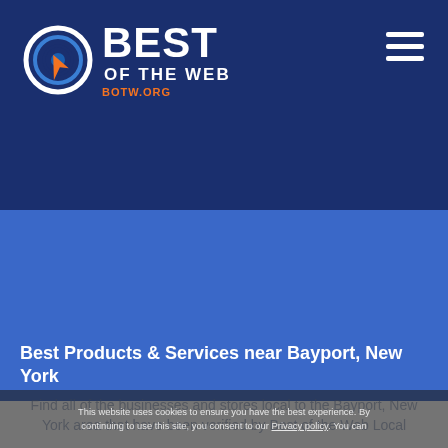[Figure (logo): Best of the Web (BOTW.org) logo with circular target icon and white bold text reading BEST OF THE WEB]
Best Products & Services near Bayport, New York
Find all of the businesses and stores local to the Bayport, New York area that have been verified by Best of the Web Local
This website uses cookies to ensure you have the best experience. By continuing to use this site, you consent to our Privacy policy. You can